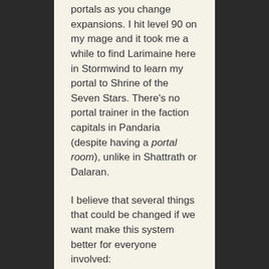portals as you change expansions. I hit level 90 on my mage and it took me a while to find Larimaine here in Stormwind to learn my portal to Shrine of the Seven Stars. There's no portal trainer in the faction capitals in Pandaria (despite having a portal room), unlike in Shattrath or Dalaran.
I believe that several things that could be changed if we want make this system better for everyone involved: